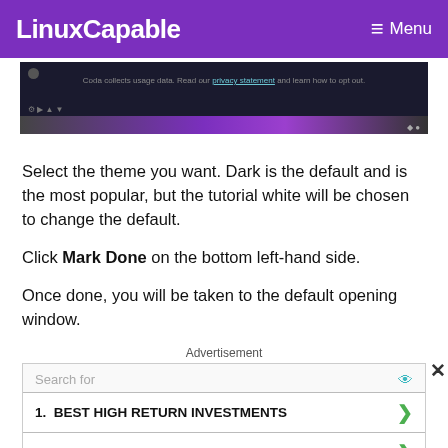LinuxCapable  ≡ Menu
[Figure (screenshot): Dark-themed application screenshot strip showing a cookie/privacy notice banner with purple gradient bar at bottom]
Select the theme you want. Dark is the default and is the most popular, but the tutorial white will be chosen to change the default.
Click Mark Done on the bottom left-hand side.
Once done, you will be taken to the default opening window.
Advertisement
[Figure (screenshot): Advertisement unit: Search for 1. BEST HIGH RETURN INVESTMENTS, 2. MASTER'S DEGREE IN — Business Focus ad]